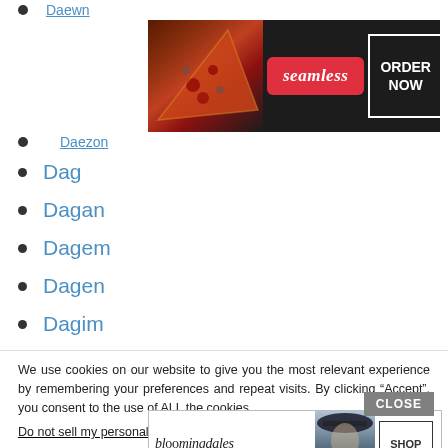Daewn
[Figure (screenshot): Seamless food delivery advertisement banner with pizza image, red Seamless badge, and ORDER NOW button]
Daezon
Dag
Dagan
Dagem
Dagen
Dagim
Dagmawi
Dago
We use cookies on our website to give you the most relevant experience by remembering your preferences and repeat visits. By clicking “Accept”, you consent to the use of ALL the cookies.
Do not sell my personal information.
[Figure (screenshot): Bloomingdale's advertisement banner with logo, fashion model in hat, View Today's Top Deals text, and SHOP NOW button]